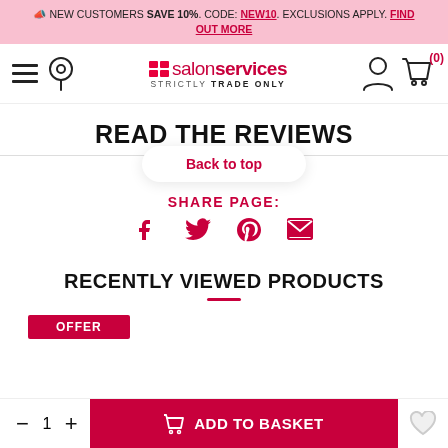NEW CUSTOMERS SAVE 10%. CODE: NEW10. EXCLUSIONS APPLY. FIND OUT MORE
[Figure (screenshot): Salon Services logo with hamburger menu, location pin, user icon, and cart icon (0)]
READ THE REVIEWS
Back to top
SHARE PAGE:
[Figure (infographic): Social share icons: Facebook, Twitter, Pinterest, Email]
RECENTLY VIEWED PRODUCTS
OFFER
- 1 + ADD TO BASKET